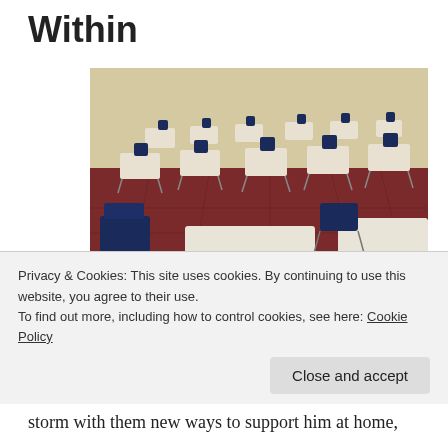Within
[Figure (photo): Empty classroom with rows of student desks and dark blue chairs on a dark red floor, light-colored walls in the background.]
Today was the last Parent/Teacher interview at Michael's school. As usual, it was bittersweet for me. Another year
Privacy & Cookies: This site uses cookies. By continuing to use this website, you agree to their use.
To find out more, including how to control cookies, see here: Cookie Policy
storm with them new ways to support him at home, now